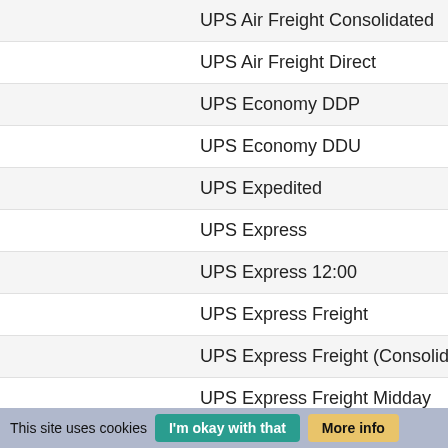| UPS Air Freight Consolidated |
| UPS Air Freight Direct |
| UPS Economy DDP |
| UPS Economy DDU |
| UPS Expedited |
| UPS Express |
| UPS Express 12:00 |
| UPS Express Freight |
| UPS Express Freight (Consolidated) |
| UPS Express Freight Midday |
| UPS Express NA1 |
| UPS Express Plus |
| UPS Express Saver |
| UPS Next Day Air Freight |
| UPS Next Day Air Freight NGS |
| UPS SCS Air Freight Consolidated |
| UPS SCS Air Freight Direct |
This site uses cookies   I'm okay with that   More info